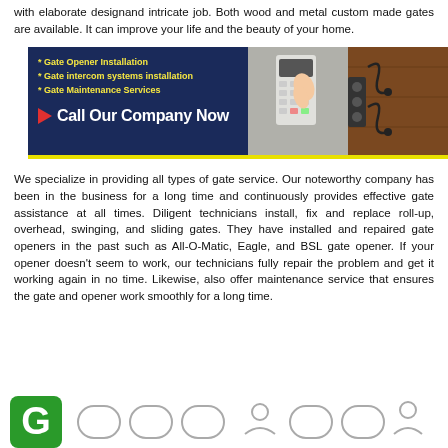with elaborate designand intricate job. Both wood and metal custom made gates are available. It can improve your life and the beauty of your home.
[Figure (infographic): Dark blue banner advertising gate services. Left side lists: Gate Opener Installation, Gate intercom systems installation, Gate Maintenance Services, and a Call Our Company Now button with red arrow. Right side shows a photo of a hand pressing a keypad and an ornate wooden gate with metal hardware.]
We specialize in providing all types of gate service. Our noteworthy company has been in the business for a long time and continuously provides effective gate assistance at all times. Diligent technicians install, fix and replace roll-up, overhead, swinging, and sliding gates. They have installed and repaired gate openers in the past such as All-O-Matic, Eagle, and BSL gate opener. If your opener doesn't seem to work, our technicians fully repair the problem and get it working again in no time. Likewise, also offer maintenance service that ensures the gate and opener work smoothly for a long time.
[Figure (infographic): Bottom row of social media / contact icons including a green icon with letter C, and several other icon shapes partially visible.]